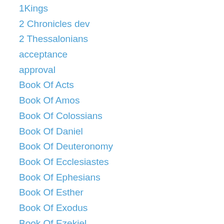1Kings
2 Chronicles dev
2 Thessalonians
acceptance
approval
Book Of Acts
Book Of Amos
Book Of Colossians
Book Of Daniel
Book Of Deuteronomy
Book Of Ecclesiastes
Book Of Ephesians
Book Of Esther
Book Of Exodus
Book Of Ezekiel
Book Of Ezra
Book Of First Corinthians
Book Of First John
Book Of First Kings
Book Of First Peter